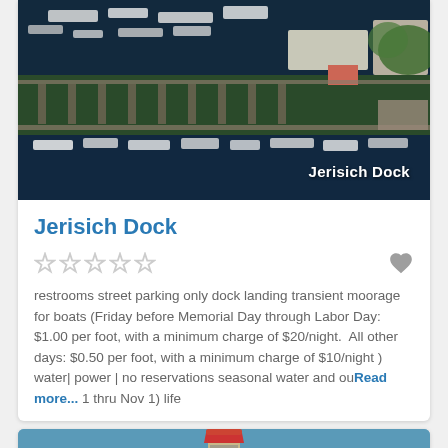[Figure (photo): Aerial view of Jerisich Dock marina with boats in dark blue water, dock slips visible, waterfront buildings and green trees in background. White text overlay reads 'Jerisich Dock'.]
Jerisich Dock
restrooms street parking only dock landing transient moorage for boats (Friday before Memorial Day through Labor Day: $1.00 per foot, with a minimum charge of $20/night.  All other days: $0.50 per foot, with a minimum charge of $10/night ) water| power | no reservations seasonal water and ou... Read more... 1 thru Nov 1) life
[Figure (photo): Partial view of a lighthouse with red top against a blue sky, bottom card preview. TrustedSite certified secure badge visible in lower right.]